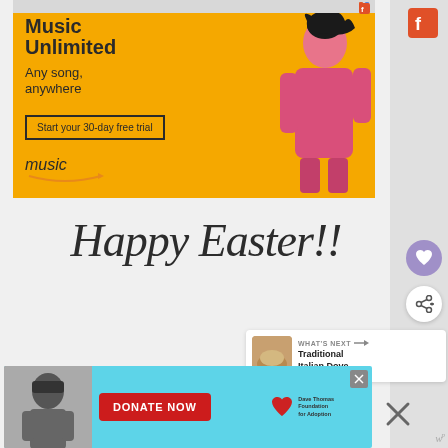[Figure (screenshot): Amazon Music Unlimited advertisement banner with yellow background showing 'Music Unlimited', 'Any song, anywhere', 'Start your 30-day free trial' button, Amazon music logo, and a woman in pink jumpsuit dancing]
Happy Easter!!
[Figure (screenshot): WHAT'S NEXT arrow Traditional Italian Dove... thumbnail of bread/food item]
[Figure (screenshot): Dave Thomas Foundation for Adoption advertisement with DONATE NOW button on cyan background, black and white photo of person on left, heart logo on right]